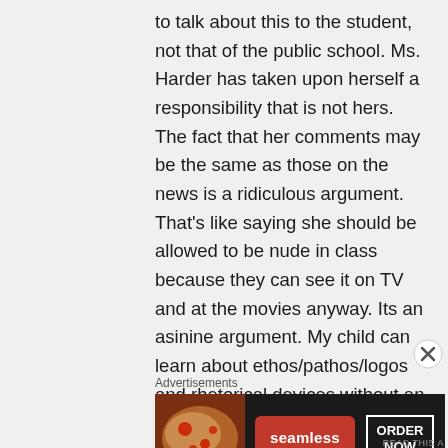to talk about this to the student, not that of the public school. Ms. Harder has taken upon herself a responsibility that is not hers. The fact that her comments may be the same as those on the news is a ridiculous argument. That's like saying she should be allowed to be nude in class because they can see it on TV and at the movies anyway. Its an asinine argument. My child can learn about ethos/pathos/logos and rhetorical devices without an attempt by a teacher pushing a personal agenda to brainwash.
Advertisements
[Figure (other): Seamless food delivery advertisement banner with pizza image on left, red Seamless logo badge in center, and ORDER NOW button on right against dark background.]